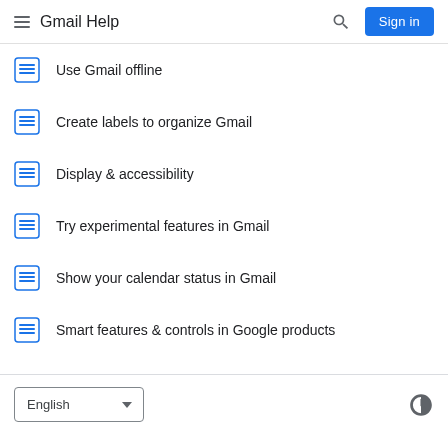Gmail Help
Use Gmail offline
Create labels to organize Gmail
Display & accessibility
Try experimental features in Gmail
Show your calendar status in Gmail
Smart features & controls in Google products
English